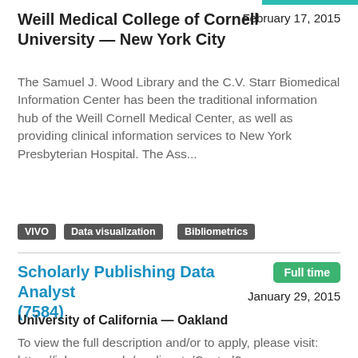Weill Medical College of Cornell University — New York City
February 17, 2015
The Samuel J. Wood Library and the C.V. Starr Biomedical Information Center has been the traditional information hub of the Weill Cornell Medical Center, as well as providing clinical information services to New York Presbyterian Hospital. The Ass...
VIVO
Data visualization
Bibliometrics
Scholarly Publishing Data Analyst (7584)
Full time
January 29, 2015
University of California — Oakland
To view the full description and/or to apply, please visit:
https://jobs.ucop.edu/applicants/Central?